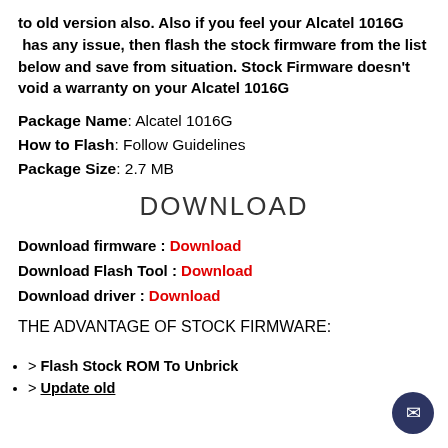to old version also. Also if you feel your Alcatel 1016G has any issue, then flash the stock firmware from the list below and save from situation. Stock Firmware doesn't void a warranty on your Alcatel 1016G
Package Name: Alcatel 1016G
How to Flash: Follow Guidelines
Package Size: 2.7 MB
DOWNLOAD
Download firmware : Download
Download Flash Tool : Download
Download driver : Download
THE ADVANTAGE OF STOCK FIRMWARE:
> Flash Stock ROM To Unbrick
> Update old...